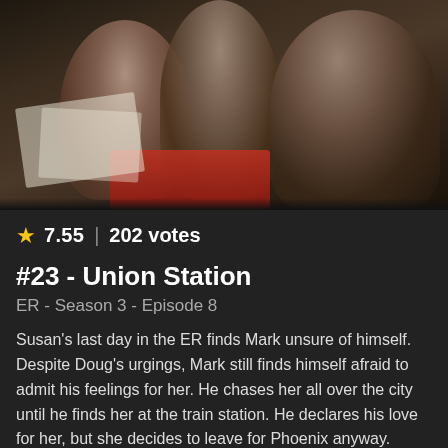[Figure (photo): Scene from ER TV show with three people in a hospital setting, two women and a man, dim lighting, red object visible in foreground]
★ 7.55 | 202 votes
#23 - Union Station
ER - Season 3 - Episode 8
Susan's last day in the ER finds Mark unsure of himself. Despite Doug's urgings, Mark still finds himself afraid to admit his feelings for her. He chases her all over the city until he finds her at the train station. He declares his love for her, but she decides to leave for Phoenix anyway.